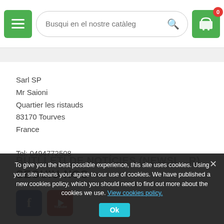[Figure (screenshot): Website header with green hamburger menu button, search bar reading 'Busqui en el nostre catàleg', and green cart button with red badge showing 0]
Sarl SP
Mr Saioni
Quartier les ristauds
83170 Tourves
France
Tel: 0494772508
SEGUIU-NOS
[Figure (illustration): Facebook and YouTube social media icon buttons]
BUTLLETÍ DE NOTÍCIES (NEWSL... R)
To give you the best possible experience, this site uses cookies. Using your site means your agree to our use of cookies. We have published a new cookies policy, which you should need to find out more about the cookies we use. View cookies policy.
Ok